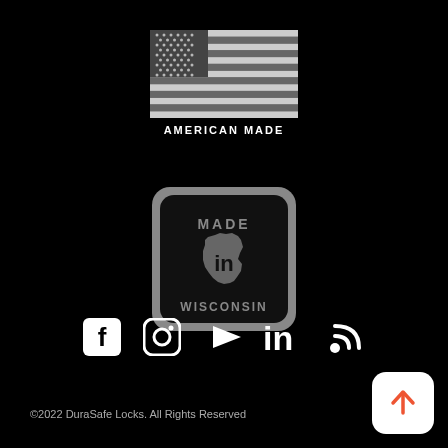[Figure (logo): Grayscale American flag above text reading AMERICAN MADE]
[Figure (logo): Made in Wisconsin badge: rounded square with gray border on black background, showing Wisconsin state outline with text MADE in WISCONSIN]
[Figure (infographic): Row of social media icons: Facebook, Instagram, YouTube, LinkedIn, RSS feed — all white on black background]
©2022 DuraSafe Locks. All Rights Reserved
[Figure (illustration): White rounded square button with red upward arrow (back to top button)]